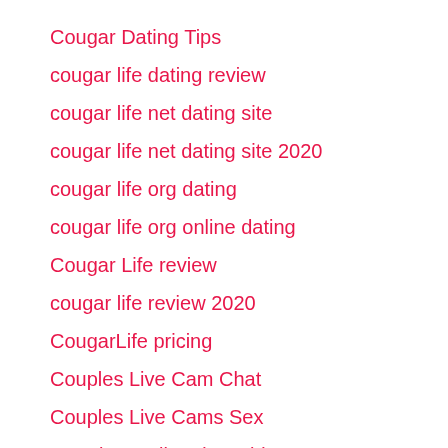Cougar Dating Tips
cougar life dating review
cougar life net dating site
cougar life net dating site 2020
cougar life org dating
cougar life org online dating
Cougar Life review
cougar life review 2020
CougarLife pricing
Couples Live Cam Chat
Couples Live Cams Sex
Croatian Mail Order Brides
CrossDresser sign up